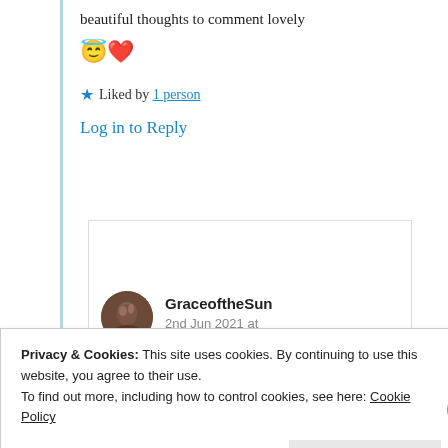beautiful thoughts to comment lovely 😇❤️
★ Liked by 1 person
Log in to Reply
GraceoftheSun
2nd Jun 2021 at 4:52 am
Privacy & Cookies: This site uses cookies. By continuing to use this website, you agree to their use.
To find out more, including how to control cookies, see here: Cookie Policy
Close and accept